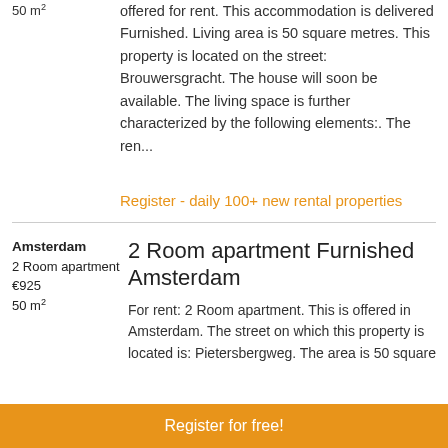50 m²
offered for rent. This accommodation is delivered Furnished. Living area is 50 square metres. This property is located on the street: Brouwersgracht. The house will soon be available. The living space is further characterized by the following elements:. The ren...
Register - daily 100+ new rental properties
Amsterdam
2 Room apartment
€925
50 m²
2 Room apartment Furnished Amsterdam
For rent: 2 Room apartment. This is offered in Amsterdam. The street on which this property is located is: Pietersbergweg. The area is 50 square
Register for free!